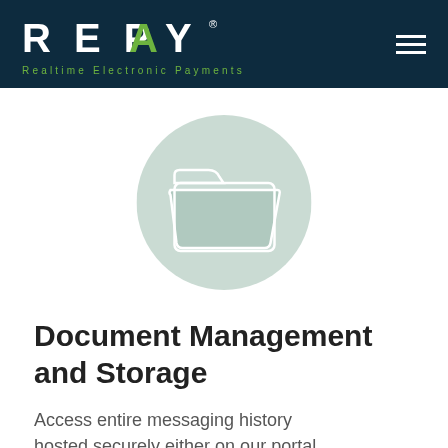REPAY — Realtime Electronic Payments
[Figure (illustration): A folder icon in light sage green on a circular sage green background, representing document management and storage.]
Document Management and Storage
Access entire messaging history hosted securely either on our portal